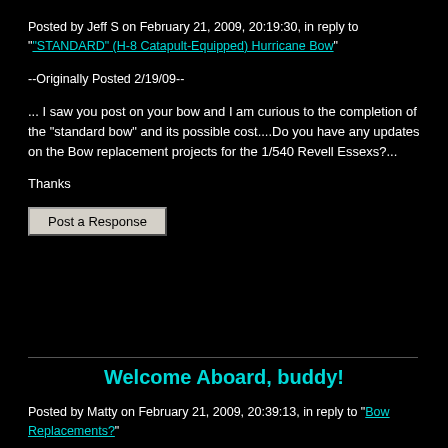Posted by Jeff S on February 21, 2009, 20:19:30, in reply to ""STANDARD" (H-8 Catapult-Equipped) Hurricane Bow"
--Originally Posted 2/19/09--
... I saw you post on your bow and I am curious to the completion of the "standard bow" and its possible cost....Do you have any updates on the Bow replacement projects for the 1/540 Revell Essexs?...
Thanks
[Figure (other): Post a Response button]
Welcome Aboard, buddy!
Posted by Matty on February 21, 2009, 20:39:13, in reply to "Bow Replacements?"
Message modified by board administrator February 22, 2009, 8:04:47